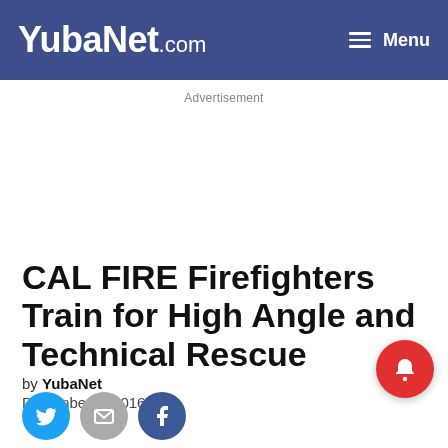YubaNet.com — Menu
Advertisement
CAL FIRE Firefighters Train for High Angle and Technical Rescue
by YubaNet
December 6, 2016